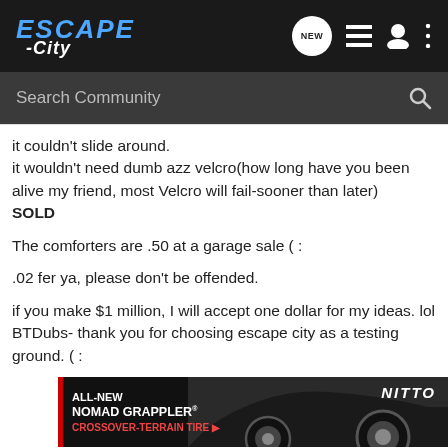ESCAPE -City [navigation icons: NEW, list, user, menu]
Search Community
it couldn't slide around.
it wouldn't need dumb azz velcro(how long have you been alive my friend, most Velcro will fail-sooner than later)
SOLD
The comforters are .50 at a garage sale ( :
.02 fer ya, please don't be offended.
if you make $1 million, I will accept one dollar for my ideas. lol BTDubs- thank you for choosing escape city as a testing ground. ( :
[Figure (photo): Nitto ALL-NEW NOMAD GRAPPLER CROSSOVER-TERRAIN TIRE advertisement banner with tire and vehicle image]
20 Titani…